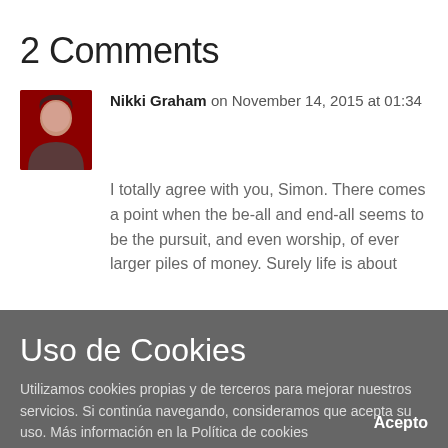2 Comments
Nikki Graham on November 14, 2015 at 01:34
I totally agree with you, Simon. There comes a point when the be-all and end-all seems to be the pursuit, and even worship, of ever larger piles of money. Surely life is about
Uso de Cookies
Utilizamos cookies propias y de terceros para mejorar nuestros servicios. Si continúa navegando, consideramos que acepta su uso. Más información en la Política de cookies
Acepto